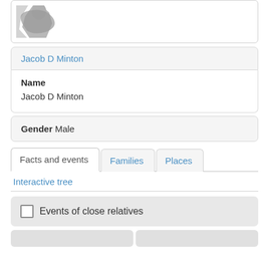[Figure (illustration): Partial silhouette of a person/character in grey, cropped at the top of a white card]
Jacob D Minton
Name
Jacob D Minton
Gender Male
Facts and events
Families
Places
Interactive tree
Events of close relatives